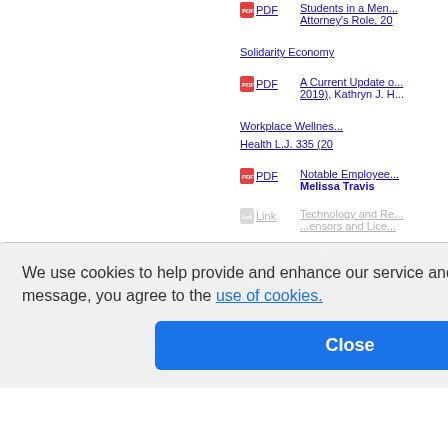PDF  Students in a Men... Attorney's Role, 20...
Solidarity Economy...
PDF  A Current Update o... 2019), Kathryn J. H...
Workplace Wellnes... Health L.J. 335 (20...
PDF  Notable Employee... Melissa Travis
Link  Technology and Re...  ...ensors and Lice...
Of Dan...gers, Condi... Standing Rules, 40...
PDF  Climate Change, T... Lewis and Giovann...
We use cookies to help provide and enhance our service and tailor content. By closing this message, you agree to the use of cookies.
Close